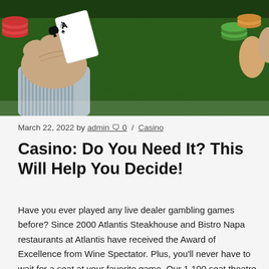[Figure (photo): Photo of hands holding playing cards (including an Ace of Spades) over a green casino felt table with poker chips visible]
March 22, 2022 by admin 🗨 0 / Casino
Casino: Do You Need It? This Will Help You Decide!
Have you ever played any live dealer gambling games before? Since 2000 Atlantis Steakhouse and Bistro Napa restaurants at Atlantis have received the Award of Excellence from Wine Spectator. Plus, you'll never have to wait for a seat at your favorite game. Our 1,100 seat theatre hosts some of the best Vancouver concerts, comedy shows, and performances